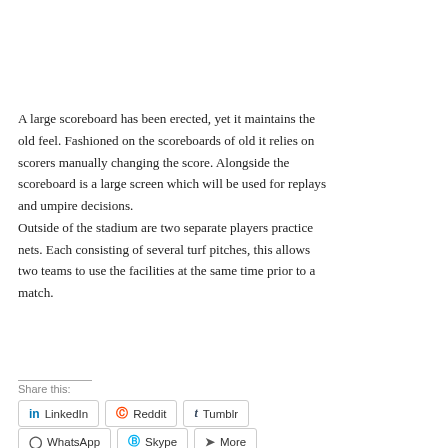A large scoreboard has been erected, yet it maintains the old feel. Fashioned on the scoreboards of old it relies on scorers manually changing the score. Alongside the scoreboard is a large screen which will be used for replays and umpire decisions.
Outside of the stadium are two separate players practice nets. Each consisting of several turf pitches, this allows two teams to use the facilities at the same time prior to a match.
Share this: